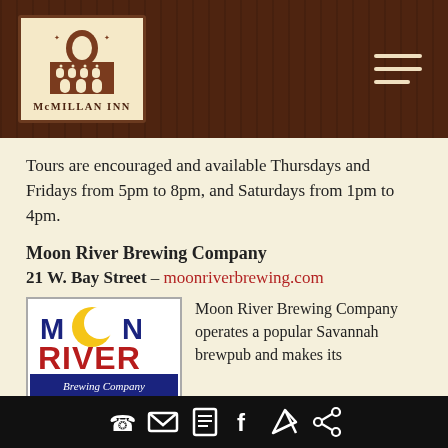[Figure (logo): McMillan Inn logo with building illustration and text]
Tours are encouraged and available Thursdays and Fridays from 5pm to 8pm, and Saturdays from 1pm to 4pm.
Moon River Brewing Company
21 W. Bay Street – moonriverbrewing.com
[Figure (logo): Moon River Brewing Company logo with moon and river text]
Moon River Brewing Company operates a popular Savannah brewpub and makes its own beer on the premises. They don't offer
Phone, email, document, Facebook, navigation, share icons